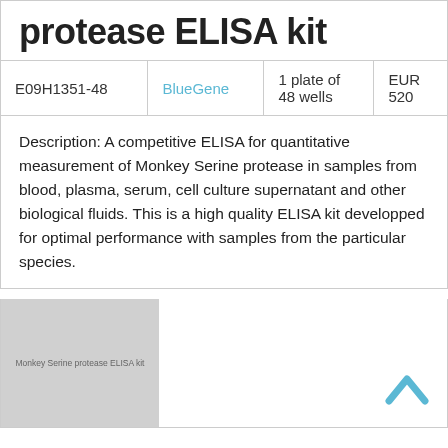protease ELISA kit
|  |  |  |  |
| --- | --- | --- | --- |
| E09H1351-48 | BlueGene | 1 plate of 48 wells | EUR 520 |
Description: A competitive ELISA for quantitative measurement of Monkey Serine protease in samples from blood, plasma, serum, cell culture supernatant and other biological fluids. This is a high quality ELISA kit developped for optimal performance with samples from the particular species.
[Figure (photo): Product image placeholder showing 'Monkey Serine protease ELISA kit' label on grey background]